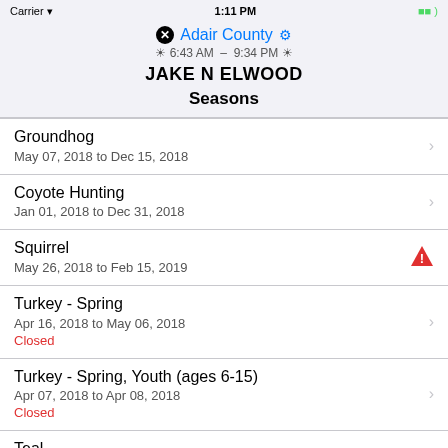Carrier  1:11 PM  Battery
Adair County
6:43 AM – 9:34 PM
JAKE N ELWOOD
Seasons
Groundhog
May 07, 2018 to Dec 15, 2018
Coyote Hunting
Jan 01, 2018 to Dec 31, 2018
Squirrel
May 26, 2018 to Feb 15, 2019
Turkey - Spring
Apr 16, 2018 to May 06, 2018
Closed
Turkey - Spring, Youth (ages 6-15)
Apr 07, 2018 to Apr 08, 2018
Closed
Teal
Sep 08, 2018 to Sep 23, 2018
Closed